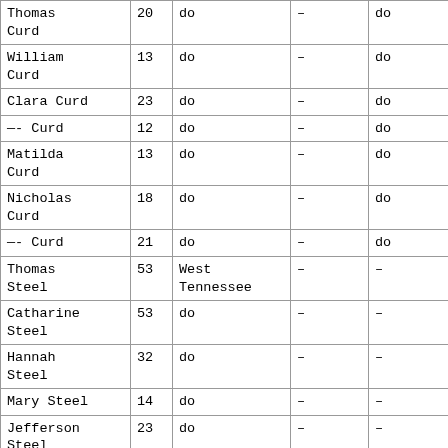| Name | Age | Location |  |  |
| --- | --- | --- | --- | --- |
| Thomas Curd | 20 | do | – | do |
| William Curd | 13 | do | – | do |
| Clara Curd | 23 | do | – | do |
| —- Curd | 12 | do | – | do |
| Matilda Curd | 13 | do | – | do |
| Nicholas Curd | 18 | do | – | do |
| —- Curd | 21 | do | – | do |
| Thomas Steel | 53 | West Tennessee | – | – |
| Catharine Steel | 53 | do | – | – |
| Hannah Steel | 32 | do | – | – |
| Mary Steel | 14 | do | – | – |
| Jefferson Steel | 23 | do | – | – |
| Wilson Steel | 19 | do | – | – |
| Washington | 12 | do | – | – |